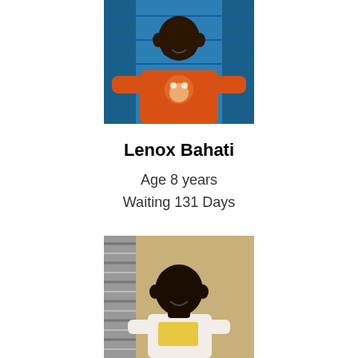[Figure (photo): Photo of a boy in an orange long-sleeve shirt with a cartoon character on it, standing in front of a blue background]
Lenox Bahati
Age 8 years
Waiting 131 Days
[Figure (photo): Photo of a young child in a white t-shirt with a yellow excavator graphic, standing and smiling in front of a tan/beige wall with corrugated metal to the left]